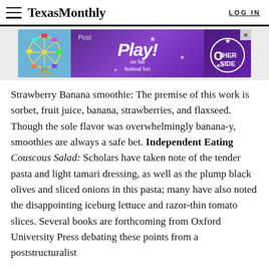TexasMonthly  LOG IN
[Figure (screenshot): Advertisement banner for a fall festival fun event featuring a ferris wheel on the left, purple background, 'Post Play! on fall festival fun' text, and a logo on the right with an X close button.]
Strawberry Banana smoothie: The premise of this work is sorbet, fruit juice, banana, strawberries, and flaxseed. Though the sole flavor was overwhelmingly banana-y, smoothies are always a safe bet. Independent Eating Couscous Salad: Scholars have taken note of the tender pasta and light tamari dressing, as well as the plump black olives and sliced onions in this pasta; many have also noted the disappointing iceburg lettuce and razor-thin tomato slices. Several books are forthcoming from Oxford University Press debating these points from a poststructuralist